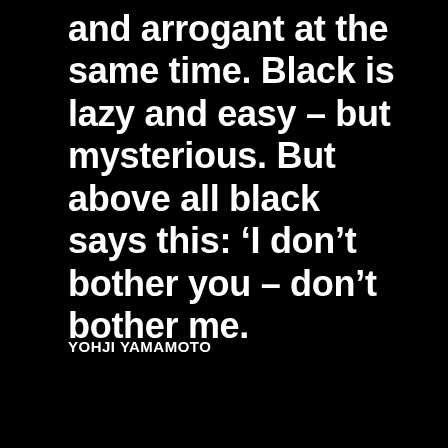and arrogant at the same time. Black is lazy and easy – but mysterious. But above all black says this: ‘I don’t bother you – don’t bother me.
YOHJI YAMAMOTO